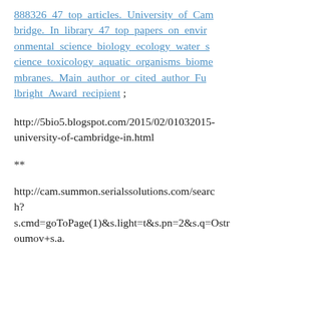888326_47_top_articles._University_of_Cambridge._In_library_47_top_papers_on_environmental_science_biology_ecology_water_science_toxicology_aquatic_organisms_biomembranes._Main_author_or_cited_author_Fulbright_Award_recipient ;
http://5bio5.blogspot.com/2015/02/01032015-university-of-cambridge-in.html
**
http://cam.summon.serialssolutions.com/search?s.cmd=goToPage(1)&s.light=t&s.pn=2&s.q=Ostroumov+s.a.